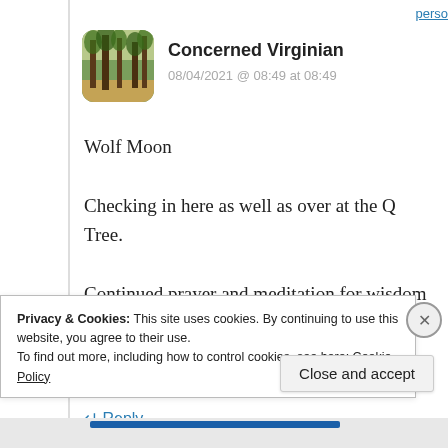perso
[Figure (photo): Avatar image of a forest scene with trees, rounded square shape]
Concerned Virginian
08/04/2021 @ 08:49 at 08:49
Wolf Moon

Checking in here as well as over at the Q Tree.

Continued prayer and meditation for wisdom to you, and safety to you and yours.
★ Liked by 5 people
↵ Reply
Privacy & Cookies: This site uses cookies. By continuing to use this website, you agree to their use.
To find out more, including how to control cookies, see here: Cookie Policy
Close and accept